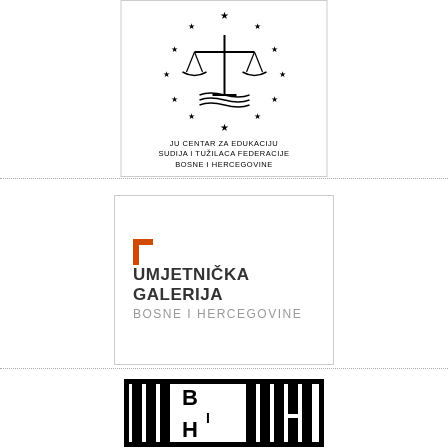[Figure (logo): JU Centar za edukaciju sudija i tužilaca Federacije Bosne i Hercegovine logo with scales of justice surrounded by stars]
[Figure (logo): Umjetnička galerija Bosne i Hercegovine logo with orange bracket and text]
[Figure (logo): BH logo with vertical bars and letters B, H inside a black border frame]